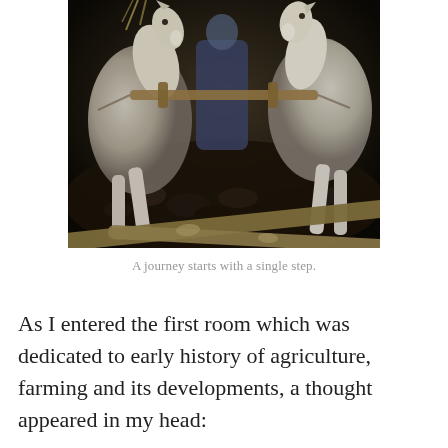[Figure (photo): Painting or illustration of two white horses harnessed with wooden yokes pulling something through darkness, with a person visible between them. In the foreground are wooden poles or logs tied together with rope. The scene depicts early agricultural work.]
A journey starts with a single step.
As I entered the first room which was dedicated to early history of agriculture, farming and its developments, a thought appeared in my head: